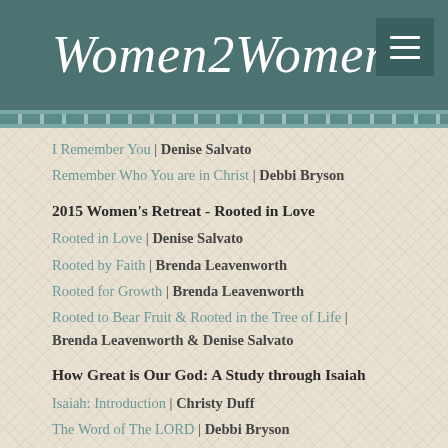Women2Women
I Remember You | Denise Salvato
Remember Who You are in Christ | Debbi Bryson
2015 Women's Retreat - Rooted in Love
Rooted in Love | Denise Salvato
Rooted by Faith | Brenda Leavenworth
Rooted for Growth | Brenda Leavenworth
Rooted to Bear Fruit & Rooted in the Tree of Life | Brenda Leavenworth & Denise Salvato
How Great is Our God: A Study through Isaiah
Isaiah: Introduction | Christy Duff
The Word of The LORD | Debbi Bryson
Holy and Exalted One | Christy Duff
Immanuel, God with Us | Debbi Bryson